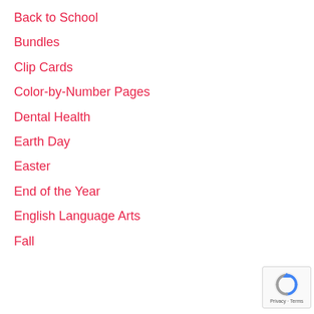Back to School
Bundles
Clip Cards
Color-by-Number Pages
Dental Health
Earth Day
Easter
End of the Year
English Language Arts
Fall